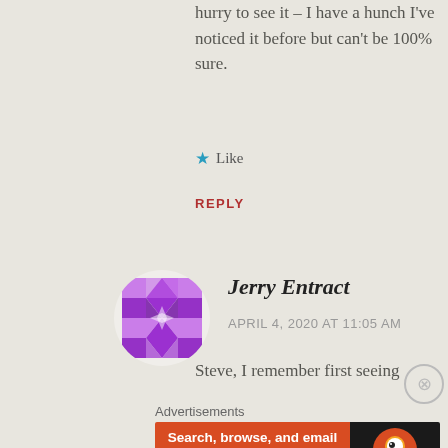hurry to see it – I have a hunch I've noticed it before but can't be 100% sure.
Like
REPLY
[Figure (illustration): Purple geometric quilt-pattern avatar circle icon for user Jerry Entract]
Jerry Entract
APRIL 4, 2020 AT 11:05 AM
Steve, I remember first seeing
Advertisements
[Figure (infographic): DuckDuckGo advertisement banner: 'Search, browse, and email with more privacy. All in One Free App' on orange background with DuckDuckGo duck logo on dark background]